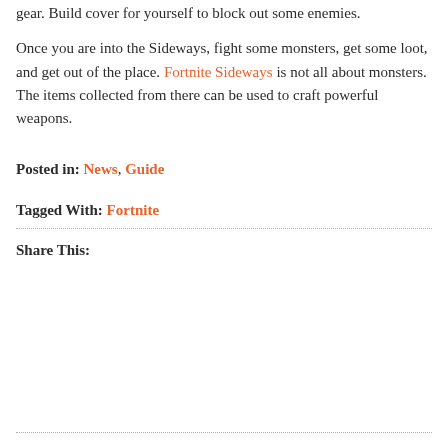gear. Build cover for yourself to block out some enemies.
Once you are into the Sideways, fight some monsters, get some loot, and get out of the place. Fortnite Sideways is not all about monsters. The items collected from there can be used to craft powerful weapons.
Posted in: News, Guide
Tagged With: Fortnite
Share This: